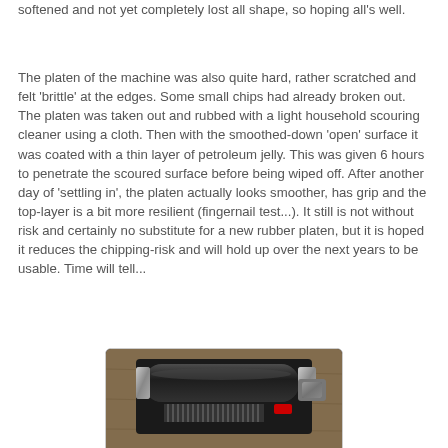softened and not yet completely lost all shape, so hoping all's well.
The platen of the machine was also quite hard, rather scratched and felt 'brittle' at the edges. Some small chips had already broken out. The platen was taken out and rubbed with a light household scouring cleaner using a cloth. Then with the smoothed-down 'open' surface it was coated with a thin layer of petroleum jelly. This was given 6 hours to penetrate the scoured surface before being wiped off. After another day of 'settling in', the platen actually looks smoother, has grip and the top-layer is a bit more resilient (fingernail test...). It still is not without risk and certainly no substitute for a new rubber platen, but it is hoped it reduces the chipping-risk and will hold up over the next years to be usable. Time will tell...
[Figure (photo): A close-up photograph of a typewriter platen/roller mechanism, showing black metal components, a cylindrical roller, and chrome/metal parts on what appears to be a wooden surface.]